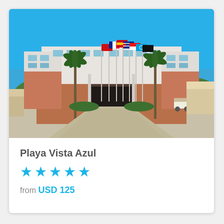[Figure (photo): Exterior photo of Playa Vista Azul hotel: a modern white and terracotta multi-story building with palm trees, multiple national flags on tall flagpoles in the forecourt, a wide paved driveway, green landscaping, and a bright blue sky.]
Playa Vista Azul
★★★★★
from USD 125